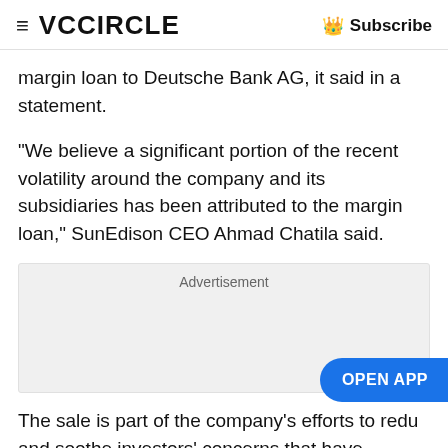≡ VCCIRCLE  Subscribe
margin loan to Deutsche Bank AG, it said in a statement.
"We believe a significant portion of the recent volatility around the company and its subsidiaries has been attributed to the margin loan," SunEdison CEO Ahmad Chatila said.
[Figure (other): Advertisement placeholder box]
The sale is part of the company's efforts to redu… and soothe investors' concerns that have dragged its shares sharply lower over the past year. Shares of